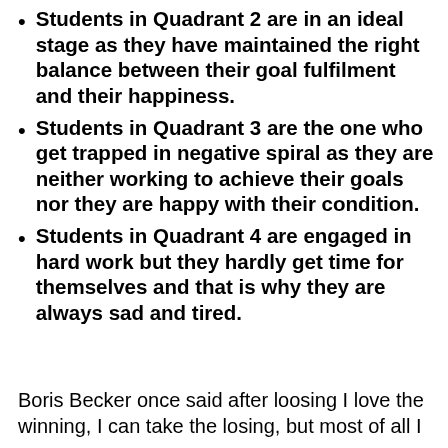Students in Quadrant 2 are in an ideal stage as they have maintained the right balance between their goal fulfilment and their happiness.
Students in Quadrant 3 are the one who get trapped in negative spiral as they are neither working to achieve their goals nor they are happy with their condition.
Students in Quadrant 4 are engaged in hard work but they hardly get time for themselves and that is why they are always sad and tired.
Boris Becker once said after loosing I love the winning, I can take the losing, but most of all I